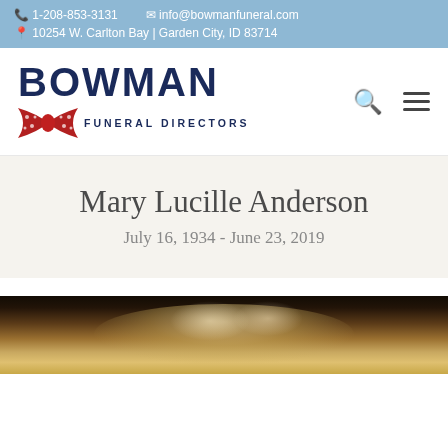1-208-853-3131  info@bowmanfuneral.com  10254 W. Carlton Bay | Garden City, ID 83714
[Figure (logo): Bowman Funeral Directors logo with red bow tie graphic]
Mary Lucille Anderson
July 16, 1934 - June 23, 2019
[Figure (photo): Portrait photo of Mary Lucille Anderson, elderly woman with white/blonde hair, dark background]